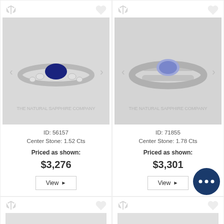[Figure (photo): Blue sapphire ring with diamond accents on white metal band - ID 56157]
ID: 56157
Center Stone: 1.52 Cts
Priced as shown:
$3,276
[Figure (photo): Light blue/lavender sapphire ring on split white metal band - ID 71855]
ID: 71855
Center Stone: 1.78 Cts
Priced as shown:
$3,301
[Figure (photo): Partially visible ring product image at bottom left]
[Figure (photo): Partially visible ring product image at bottom right]